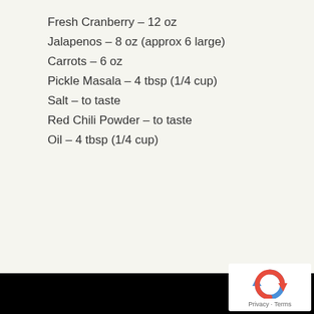Fresh Cranberry – 12 oz
Jalapenos – 8 oz (approx 6 large)
Carrots – 6 oz
Pickle Masala – 4 tbsp (1/4 cup)
Salt – to taste
Red Chili Powder – to taste
Oil – 4 tbsp (1/4 cup)
[Figure (logo): reCAPTCHA logo with Privacy and Terms links]